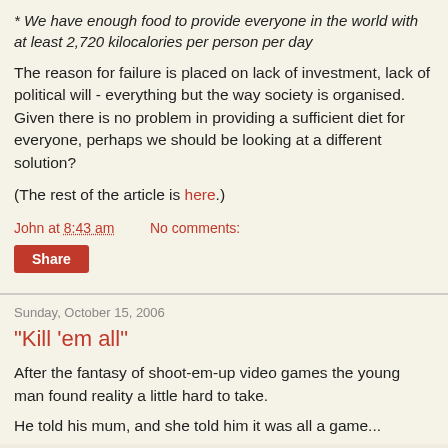* We have enough food to provide everyone in the world with at least 2,720 kilocalories per person per day
The reason for failure is placed on lack of investment, lack of political will - everything but the way society is organised. Given there is no problem in providing a sufficient diet for everyone, perhaps we should be looking at a different solution?
(The rest of the article is here.)
John at 8:43 am    No comments:
Share
Sunday, October 15, 2006
"Kill 'em all"
After the fantasy of shoot-em-up video games the young man found reality a little hard to take.
He told his mum, and she told him it was all a game...